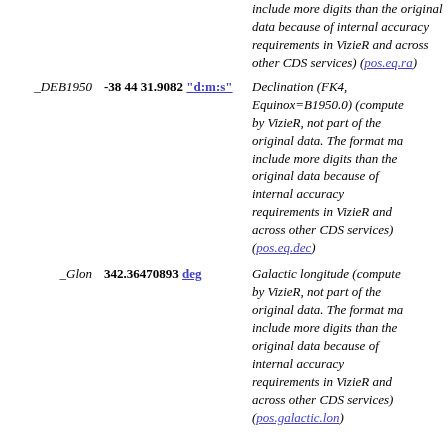| Field | Value | Description |
| --- | --- | --- |
|  |  | include more digits than the original data because of internal accuracy requirements in VizieR and across other CDS services) (pos.eq.ra) |
| _DEB1950 | -38 44 31.9082 "d:m:s" | Declination (FK4, Equinox=B1950.0) (computed by VizieR, not part of the original data. The format may include more digits than the original data because of internal accuracy requirements in VizieR and across other CDS services) (pos.eq.dec) |
| _Glon | 342.36470893 deg | Galactic longitude (computed by VizieR, not part of the original data. The format may include more digits than the original data because of internal accuracy requirements in VizieR and across other CDS services) (pos.galactic.lon) |